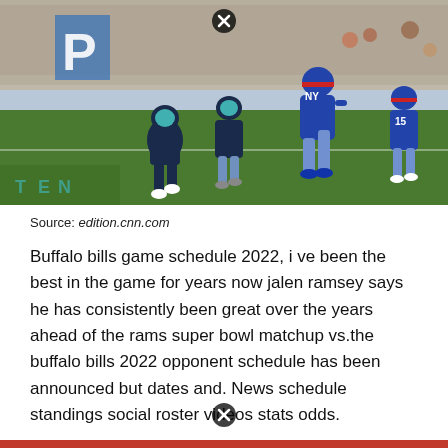[Figure (photo): NFL football game action photo showing Buffalo Bills players in blue uniforms and Tennessee Titans players in navy/teal uniforms on the field. Player number 15 visible on far right in blue Bills uniform. Green field with yard markers visible.]
Source: edition.cnn.com
Buffalo bills game schedule 2022, i ve been the best in the game for years now jalen ramsey says he has consistently been great over the years ahead of the rams super bowl matchup vs.the buffalo bills 2022 opponent schedule has been announced but dates and. News schedule standings social roster videos stats odds.